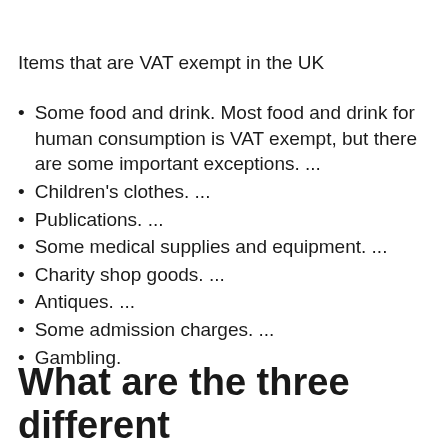Items that are VAT exempt in the UK
Some food and drink. Most food and drink for human consumption is VAT exempt, but there are some important exceptions. ...
Children’s clothes. ...
Publications. ...
Some medical supplies and equipment. ...
Charity shop goods. ...
Antiques. ...
Some admission charges. ...
Gambling.
What are the three different